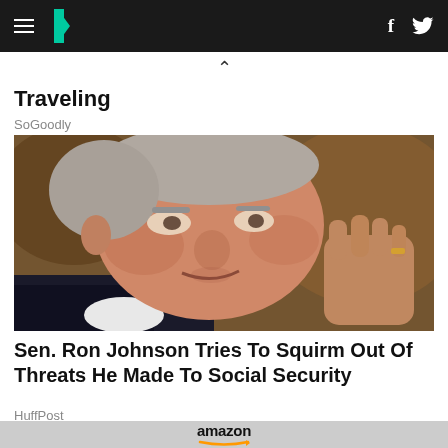HuffPost navigation bar with hamburger menu, logo, Facebook and Twitter icons
^
Traveling
SoGoodly
[Figure (photo): Close-up photo of Sen. Ron Johnson, an older white man with grey hair, gesturing with his right hand raised to a fist, wearing a dark suit and white shirt, against a blurred brown background.]
Sen. Ron Johnson Tries To Squirm Out Of Threats He Made To Social Security
HuffPost
[Figure (logo): Amazon logo with orange arrow underneath, partial view of an advertisement at the bottom of the page.]